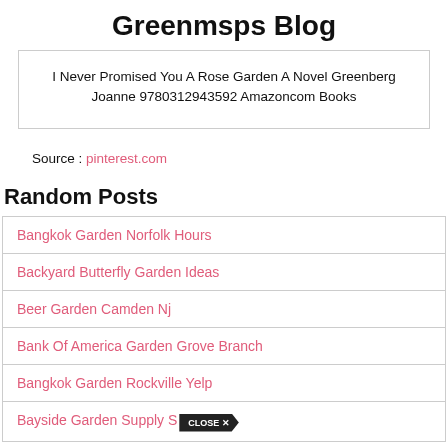Greenmsps Blog
I Never Promised You A Rose Garden A Novel Greenberg Joanne 9780312943592 Amazoncom Books
Source : pinterest.com
Random Posts
Bangkok Garden Norfolk Hours
Backyard Butterfly Garden Ideas
Beer Garden Camden Nj
Bank Of America Garden Grove Branch
Bangkok Garden Rockville Yelp
Bayside Garden Supply S...